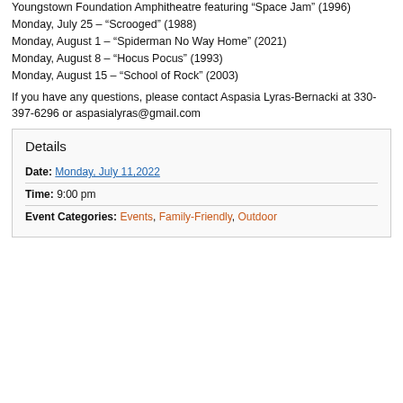Youngstown Foundation Amphitheatre featuring “Space Jam” (1996)
Monday, July 25 – “Scrooged” (1988)
Monday, August 1 – “Spiderman No Way Home” (2021)
Monday, August 8 – “Hocus Pocus” (1993)
Monday, August 15 – “School of Rock” (2003)
If you have any questions, please contact Aspasia Lyras-Bernacki at 330-397-6296 or aspasialyras@gmail.com
Details
Date: Monday, July 11,2022
Time: 9:00 pm
Event Categories: Events, Family-Friendly, Outdoor